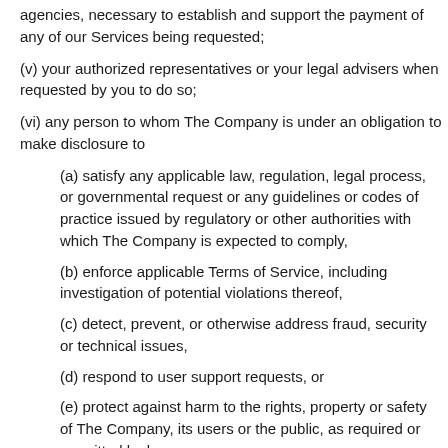agencies, necessary to establish and support the payment of any of our Services being requested;
(v) your authorized representatives or your legal advisers when requested by you to do so;
(vi) any person to whom The Company is under an obligation to make disclosure to
(a) satisfy any applicable law, regulation, legal process, or governmental request or any guidelines or codes of practice issued by regulatory or other authorities with which The Company is expected to comply,
(b) enforce applicable Terms of Service, including investigation of potential violations thereof,
(c) detect, prevent, or otherwise address fraud, security or technical issues,
(d) respond to user support requests, or
(e) protect against harm to the rights, property or safety of The Company, its users or the public, as required or permitted by law;
(vii) any party to whom The Company is under an